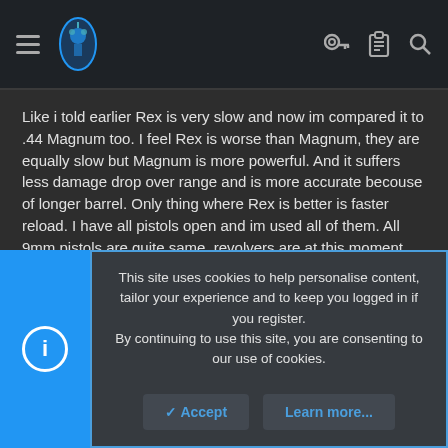Navigation bar with hamburger menu, logo, key icon, clipboard icon, search icon
Like i told earlier Rex is very slow and now im compared it to .44 Magnum too. I feel Rex is worse than Magnum, they are equally slow but Magnum is more powerful. And it suffers less damage drop over range and is more accurate becouse of longer barrel. Only thing where Rex is better is faster reload. I have all pistols open and im used all of them. All 9mm pistols are quite same, revolvers are at this moment crap becouse of slowness. I think M1911 its best combination of power, firerate and reload time and good choice for every situation. 93R is good close range back up gun, often 2 bursts kills enemy in close fights. FN57 is good to medium range becouse it's very accurate. Still i think M1911 is my favorite.
This site uses cookies to help personalise content, tailor your experience and to keep you logged in if you register. By continuing to use this site, you are consenting to our use of cookies.